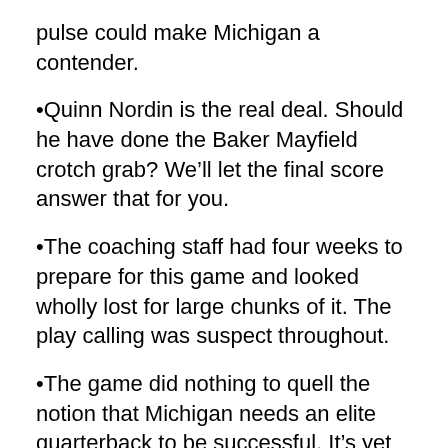pulse could make Michigan a contender.
•Quinn Nordin is the real deal. Should he have done the Baker Mayfield crotch grab? We'll let the final score answer that for you.
•The coaching staff had four weeks to prepare for this game and looked wholly lost for large chunks of it. The play calling was suspect throughout.
•The game did nothing to quell the notion that Michigan needs an elite quarterback to be successful. It's yet to be determined if that player is on the roster.
•Chase Winovich had an amazing game, but that loss has to leave a sour taste in his mouth. Fans of Michigan will eagerly await his decision on the NFL draft